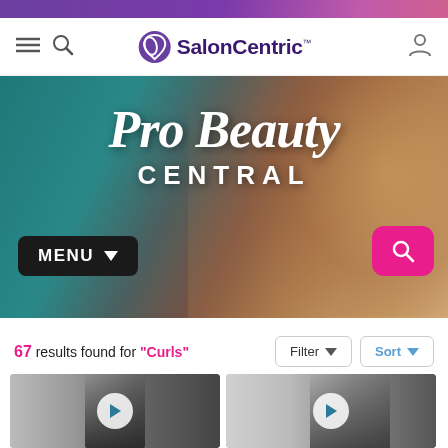[Figure (screenshot): Purple decorative banner bar at the top of the SalonCentric website]
SalonCentric navigation bar with hamburger menu, search icon, SalonCentric logo, and user account icon
[Figure (photo): Pro Beauty Central hero banner with a woman model and teal/warm gradient background. Text overlaid: Pro Beauty CENTRAL with MENU dropdown and search button]
67 results found for "Curls"
[Figure (screenshot): Filter and Sort dropdown buttons]
[Figure (photo): Two video thumbnails with play buttons showing salon professionals]
Video search results for Curls on SalonCentric Pro Beauty Central